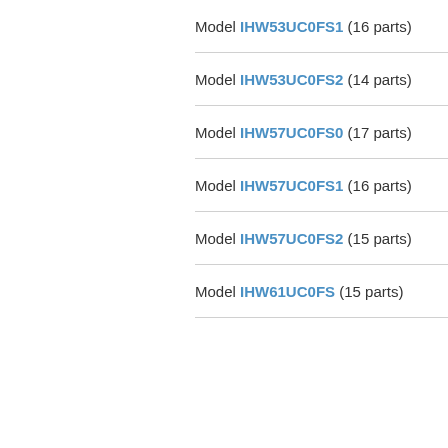Model IHW53UC0FS1 (16 parts)
Model IHW53UC0FS2 (14 parts)
Model IHW57UC0FS0 (17 parts)
Model IHW57UC0FS1 (16 parts)
Model IHW57UC0FS2 (15 parts)
Model IHW61UC0FS (15 parts)